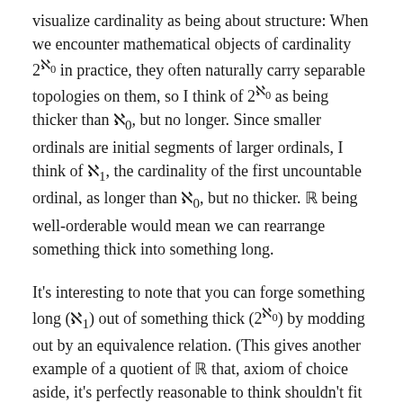visualize cardinality as being about structure: When we encounter mathematical objects of cardinality 2^ℵ₀ in practice, they often naturally carry separable topologies on them, so I think of 2^ℵ₀ as being thicker than ℵ₀, but no longer. Since smaller ordinals are initial segments of larger ordinals, I think of ℵ₁, the cardinality of the first uncountable ordinal, as longer than ℵ₀, but no thicker. ℝ being well-orderable would mean we can rearrange something thick into something long.
It's interesting to note that you can forge something long (ℵ₁) out of something thick (2^ℵ₀) by modding out by an equivalence relation. (This gives another example of a quotient of ℝ that, axiom of choice aside, it's perfectly reasonable to think shouldn't fit back inside ℝ). This is because ℵ₁ is the cardinality of the set of countable ordinals, each countable ordinal is the order-type of a well-ordering of ℕ,